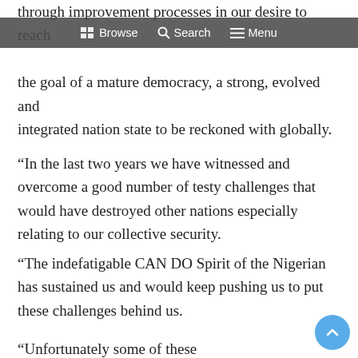through improvement processes in our desire to reach the goal of a mature democracy, a strong, evolved and integrated nation state to be reckoned with globally.
Browse   Search   Menu
“In the last two years we have witnessed and overcome a good number of testy challenges that would have destroyed other nations especially relating to our collective security.
“The indefatigable CAN DO Spirit of the Nigerian has sustained us and would keep pushing us to put these challenges behind us.
“Unfortunately some of these challenges came in the shape of violent outrages leading to the loss of lives of many of our dear compatriots and the destruction of some of our infrastructure, including those devoted to improving our democratic processes.